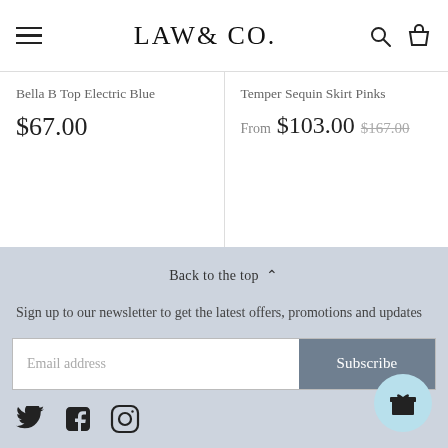LAW & CO.
Bella B Top Electric Blue
$67.00
Temper Sequin Skirt Pinks
From $103.00 $167.00
Back to the top ^
Sign up to our newsletter to get the latest offers, promotions and updates
Email address
Subscribe